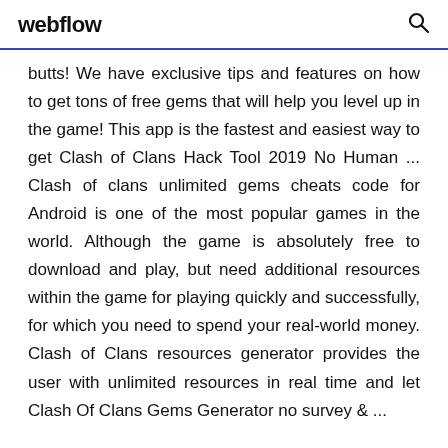webflow
butts! We have exclusive tips and features on how to get tons of free gems that will help you level up in the game! This app is the fastest and easiest way to get Clash of Clans Hack Tool 2019 No Human ... Clash of clans unlimited gems cheats code for Android is one of the most popular games in the world. Although the game is absolutely free to download and play, but need additional resources within the game for playing quickly and successfully, for which you need to spend your real-world money. Clash of Clans resources generator provides the user with unlimited resources in real time and let Clash Of Clans Gems Generator no survey & ...